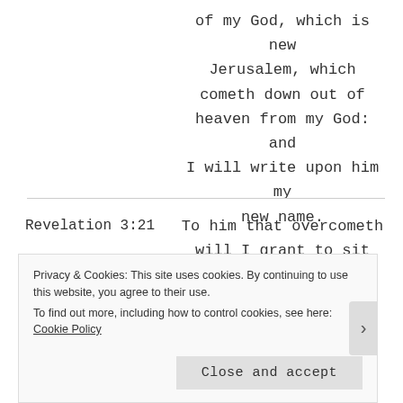of my God, which is new Jerusalem, which cometh down out of heaven from my God: and I will write upon him my new name.
Revelation 3:21
To him that overcometh will I grant to sit with me in my throne, even as I also overcame, and am
Privacy & Cookies: This site uses cookies. By continuing to use this website, you agree to their use. To find out more, including how to control cookies, see here: Cookie Policy
Close and accept